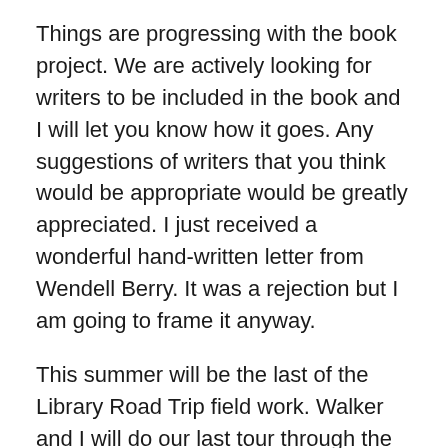Things are progressing with the book project. We are actively looking for writers to be included in the book and I will let you know how it goes. Any suggestions of writers that you think would be appropriate would be greatly appreciated. I just received a wonderful hand-written letter from Wendell Berry. It was a rejection but I am going to frame it anyway.
This summer will be the last of the Library Road Trip field work. Walker and I will do our last tour through the upper Mid-West including Idaho, Montana, North Dakota, South Dakota, Minnesota, Wisconsin, Illinois, Iowa, Missouri, Kansas, Nebraska, Wyoming and Colorado.  This is the last region in the country that I have not yet photographed for this project. We will do it more or less in this order and plan on spending four weeks on the road starting around June 12th. If you have any contacts or suggestions of